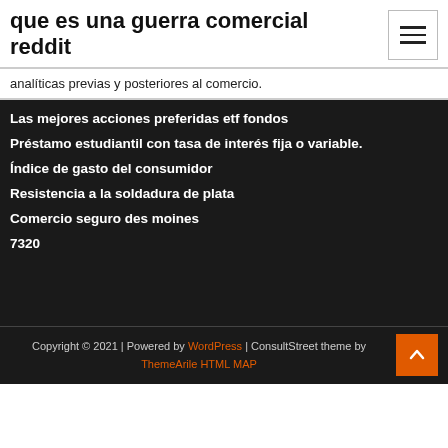que es una guerra comercial reddit
analíticas previas y posteriores al comercio.
Las mejores acciones preferidas etf fondos
Préstamo estudiantil con tasa de interés fija o variable.
Índice de gasto del consumidor
Resistencia a la soldadura de plata
Comercio seguro des moines
7320
Copyright © 2021 | Powered by WordPress | ConsultStreet theme by ThemeArile HTML MAP